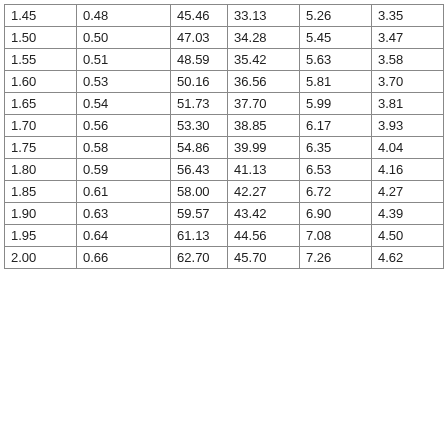| 1.45 | 0.48 | 45.46 | 33.13 | 5.26 | 3.35 |
| 1.50 | 0.50 | 47.03 | 34.28 | 5.45 | 3.47 |
| 1.55 | 0.51 | 48.59 | 35.42 | 5.63 | 3.58 |
| 1.60 | 0.53 | 50.16 | 36.56 | 5.81 | 3.70 |
| 1.65 | 0.54 | 51.73 | 37.70 | 5.99 | 3.81 |
| 1.70 | 0.56 | 53.30 | 38.85 | 6.17 | 3.93 |
| 1.75 | 0.58 | 54.86 | 39.99 | 6.35 | 4.04 |
| 1.80 | 0.59 | 56.43 | 41.13 | 6.53 | 4.16 |
| 1.85 | 0.61 | 58.00 | 42.27 | 6.72 | 4.27 |
| 1.90 | 0.63 | 59.57 | 43.42 | 6.90 | 4.39 |
| 1.95 | 0.64 | 61.13 | 44.56 | 7.08 | 4.50 |
| 2.00 | 0.66 | 62.70 | 45.70 | 7.26 | 4.62 |